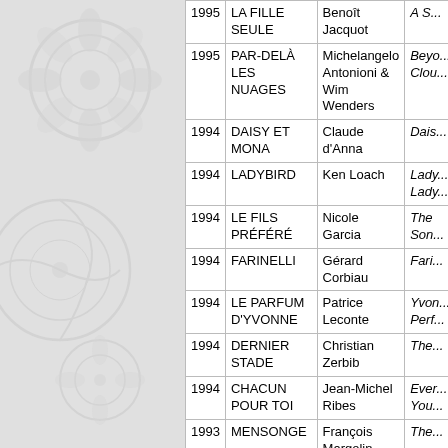| Year | French Title | Director | English Title |
| --- | --- | --- | --- |
| 1995 | LA FILLE SEULE | Benoît Jacquot | A S... |
| 1995 | PAR-DELÀ LES NUAGES | Michelangelo Antonioni & Wim Wenders | Beyo... Clou... |
| 1994 | DAISY ET MONA | Claude d'Anna | Dais... |
| 1994 | LADYBIRD | Ken Loach | Lady... Lady... |
| 1994 | LE FILS PRÉFÉRÉ | Nicole Garcia | The Son... |
| 1994 | FARINELLI | Gérard Corbiau | Fari... |
| 1994 | LE PARFUM D'YVONNE | Patrice Leconte | Yvon... Perf... |
| 1994 | DERNIER STADE | Christian Zerbib | The... |
| 1994 | CHACUN POUR TOI | Jean-Michel Ribes | Ever... You... |
| 1993 | MENSONGE | François Margolin | The... |
| 1993 | TANGO | Patrice Leconte | Tang... |
| ... | LES HISTOIRES... |  |  |